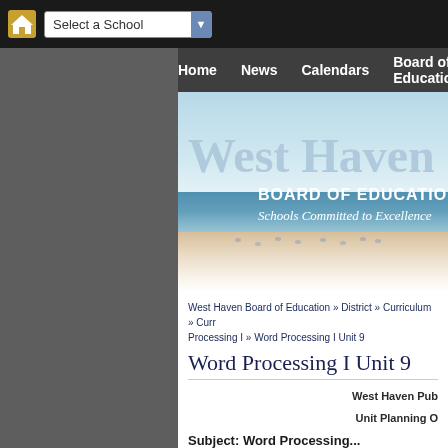[Figure (screenshot): West Haven Board of Education website screenshot showing top navigation bar with home icon and school selector, nav links (Home, News, Calendars, Board of Education), banner image with 'West Haven BOARD OF EDUCATION Schools Committed to Excellence', breadcrumb trail, page title 'Word Processing I Unit 9', and content area with 'West Haven Pub...' and 'Unit Planning O...' text]
Select a School
Home   News   Calendars   Board of Education
West Haven Board of Education » District » Curriculum » Curr... Processing I » Word Processing I Unit 9
Word Processing I Unit 9
West Pub
Unit Planning O...